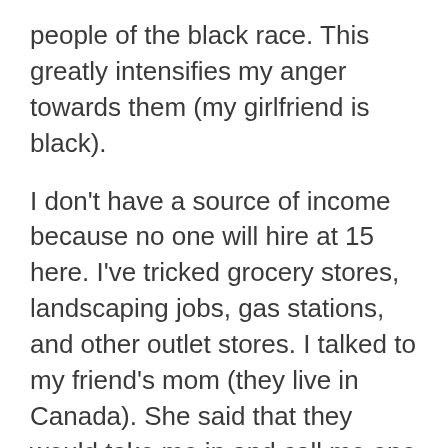people of the black race. This greatly intensifies my anger towards them (my girlfriend is black).
I don't have a source of income because no one will hire at 15 here. I've tricked grocery stores, landscaping jobs, gas stations, and other outlet stores. I talked to my friend's mom (they live in Canada). She said that they would take me in and call me one of their kids, without hesitation.
That is one thing i've never heard my dad call me. He's never called me his son, and my mom hasn't either. They always were fighting when i was young. That still haunts me. My dad has abused me before. He got mad one day because i wouldn't take a shower (i was